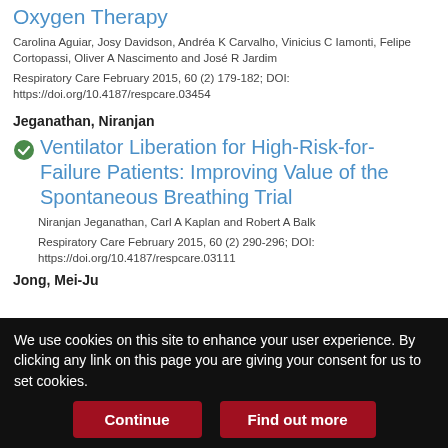Oxygen Therapy
Carolina Aguiar, Josy Davidson, Andréa K Carvalho, Vinicius C Iamonti, Felipe Cortopassi, Oliver A Nascimento and José R Jardim
Respiratory Care February 2015, 60 (2) 179-182; DOI: https://doi.org/10.4187/respcare.03454
Jeganathan, Niranjan
Ventilator Liberation for High-Risk-for-Failure Patients: Improving Value of the Spontaneous Breathing Trial
Niranjan Jeganathan, Carl A Kaplan and Robert A Balk
Respiratory Care February 2015, 60 (2) 290-296; DOI: https://doi.org/10.4187/respcare.03111
Jong, Mei-Ju
We use cookies on this site to enhance your user experience. By clicking any link on this page you are giving your consent for us to set cookies.